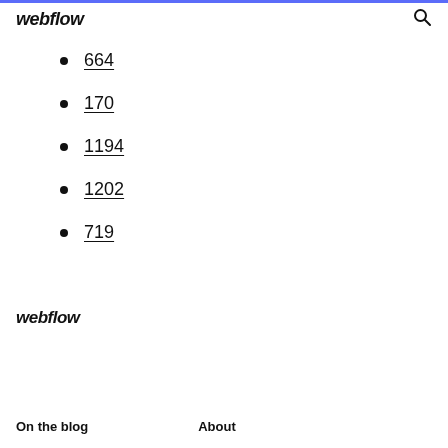webflow
664
170
1194
1202
719
webflow
On the blog   About